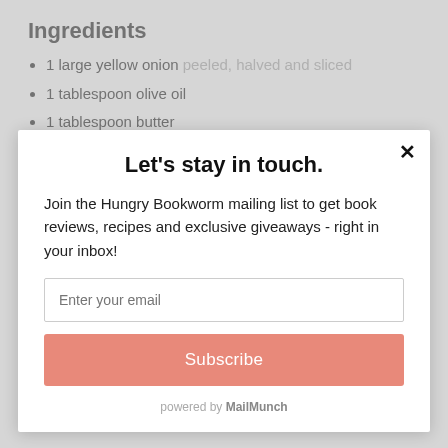Ingredients
1 large yellow onion peeled, halved and sliced
1 tablespoon olive oil
1 tablespoon butter
Let's stay in touch.
Join the Hungry Bookworm mailing list to get book reviews, recipes and exclusive giveaways - right in your inbox!
Enter your email
Subscribe
powered by MailMunch